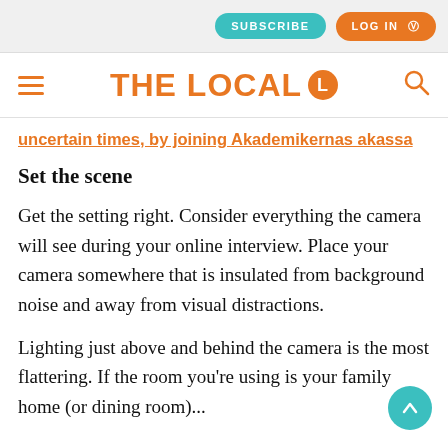SUBSCRIBE  LOG IN
THE LOCAL
uncertain times, by joining Akademikernas akassa
Set the scene
Get the setting right. Consider everything the camera will see during your online interview. Place your camera somewhere that is insulated from background noise and away from visual distractions.
Lighting just above and behind the camera is the most flattering. If the room you're using is your family home (or dining room)...